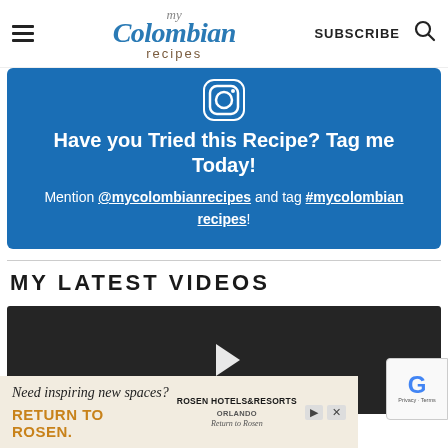my Colombian recipes | SUBSCRIBE
[Figure (screenshot): Blue promotional box with Instagram icon at top, heading 'Have you Tried this Recipe? Tag me Today!', text mentioning @mycolombian recipes and #mycolombian recipes]
MY LATEST VIDEOS
[Figure (screenshot): Dark video thumbnail with white play button arrow]
[Figure (other): Advertisement banner: Need inspiring new spaces? RETURN TO ROSEN. with Rosen Hotels & Resorts logo]